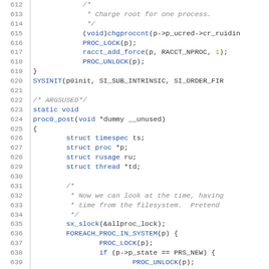Source code listing lines 612-641, C programming language kernel code showing process initialization routines.